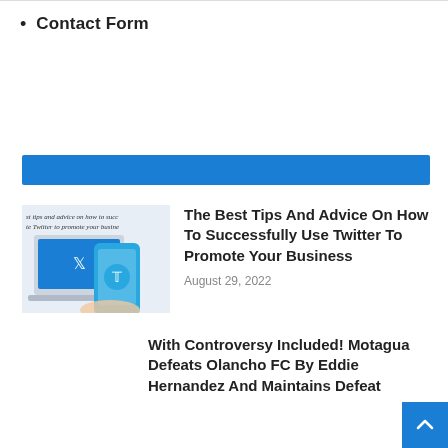Contact Form
[Figure (other): Blue horizontal banner bar]
[Figure (photo): Thumbnail image showing tips and advice on how to successfully use Twitter to promote your business — hands holding a phone with Twitter logo, laptop in background]
The Best Tips And Advice On How To Successfully Use Twitter To Promote Your Business
August 29, 2022
With Controversy Included! Motagua Defeats Olancho FC By Eddie Hernandez And Maintains Defeat